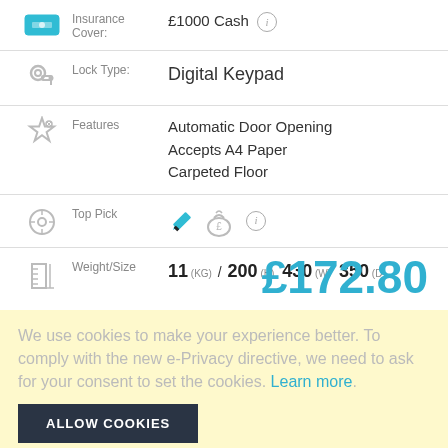Insurance Cover: £1000 Cash
Lock Type: Digital Keypad
Features: Automatic Door Opening, Accepts A4 Paper, Carpeted Floor
Top Pick
Weight/Size: 11 (KG) / 200 (H) 430 (W) 350 (D)
£172.80
We use cookies to make your experience better. To comply with the new e-Privacy directive, we need to ask for your consent to set the cookies. Learn more.
ALLOW COOKIES